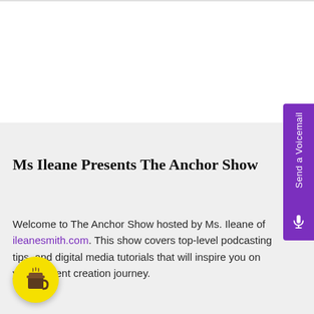Ms Ileane Presents The Anchor Show
Welcome to The Anchor Show hosted by Ms. Ileane of ileanesmith.com. This show covers top-level podcasting tips, and digital media tutorials that will inspire you on your content creation journey.
[Figure (illustration): Yellow circular coffee cup button icon in lower left, and purple vertical 'Send a Voicemail' tab on the right edge]